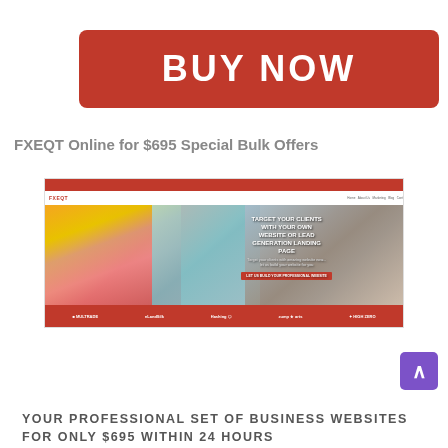[Figure (other): Red BUY NOW button]
FXEQT Online for $695 Special Bulk Offers
[Figure (screenshot): Screenshot of FXEQT website showing a colorful graffiti hero image with text TARGET YOUR CLIENTS WITH YOUR OWN WEBSITE OR LEAD GENERATION LANDING PAGE, red header and footer bars with logos]
YOUR PROFESSIONAL SET OF BUSINESS WEBSITES FOR ONLY $695 WITHIN 24 HOURS